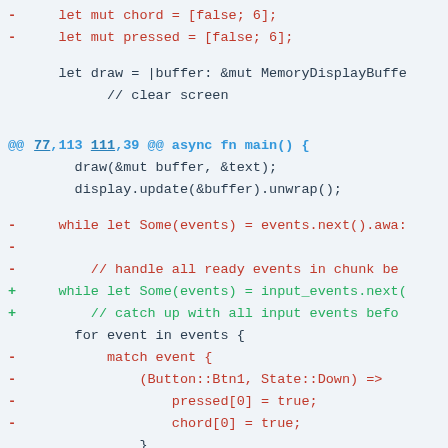-     let mut chord = [false; 6];
-     let mut pressed = [false; 6];
let draw = |buffer: &mut MemoryDisplayBuffe
// clear screen
@@ 77,113 111,39 @@ async fn main() {
draw(&mut buffer, &text);
display.update(&buffer).unwrap();
-     while let Some(events) = events.next().awa:
-
-         // handle all ready events in chunk be
+     while let Some(events) = input_events.next(
+         // catch up with all input events befo
for event in events {
-           match event {
-               (Button::Btn1, State::Down) =>
-                   pressed[0] = true;
-                   chord[0] = true;
-               }